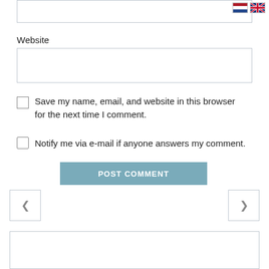[Figure (other): Two small flag icons (Netherlands and UK/English) in the top right corner]
Website
Save my name, email, and website in this browser for the next time I comment.
Notify me via e-mail if anyone answers my comment.
POST COMMENT